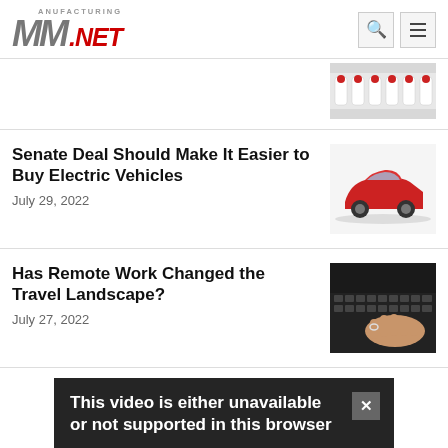MANUFACTURING NET
[Figure (photo): Partial thumbnail of article above — white bottles with red caps]
Senate Deal Should Make It Easier to Buy Electric Vehicles
July 29, 2022
[Figure (photo): Red electric SUV vehicle on white background]
Has Remote Work Changed the Travel Landscape?
July 27, 2022
[Figure (photo): Person typing on laptop keyboard close-up]
This video is either unavailable or not supported in this browser